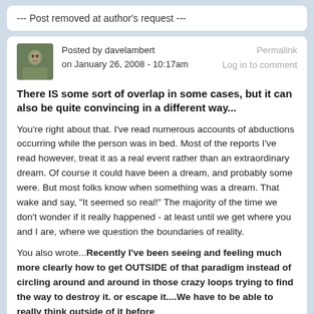--- Post removed at author's request ---
Posted by davelambert on January 26, 2008 - 10:17am
Permalink
Log in to comment
There IS some sort of overlap in some cases, but it can also be quite convincing in a different way...
You're right about that. I've read numerous accounts of abductions occurring while the person was in bed. Most of the reports I've read however, treat it as a real event rather than an extraordinary dream. Of course it could have been a dream, and probably some were. But most folks know when something was a dream. That wake and say, "It seemed so real!" The majority of the time we don't wonder if it really happened - at least until we get where you and I are, where we question the boundaries of reality.
You also wrote...Recently I've been seeing and feeling much more clearly how to get OUTSIDE of that paradigm instead of circling around and around in those crazy loops trying to find the way to destroy it. or escape it....We have to be able to really think outside of it before